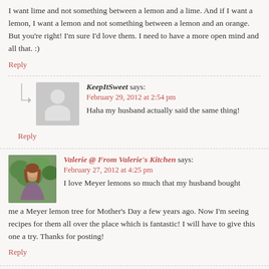I want lime and not something between a lemon and a lime. And if I want a lemon, I want a lemon and not something between a lemon and an orange. But you're right! I'm sure I'd love them. I need to have a more open mind and all that. :)
Reply
KeepItSweet says: February 29, 2012 at 2:54 pm — Haha my husband actually said the same thing!
Reply
Valerie @ From Valerie's Kitchen says: February 27, 2012 at 4:25 pm — I love Meyer lemons so much that my husband bought me a Meyer lemon tree for Mother's Day a few years ago. Now I'm seeing recipes for them all over the place which is fantastic! I will have to give this one a try. Thanks for posting!
Reply
KeepItSweet says: February 29, 2012 at 1:59 pm